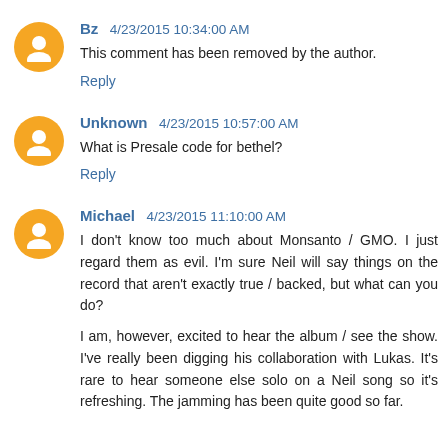Bz 4/23/2015 10:34:00 AM
This comment has been removed by the author.
Reply
Unknown 4/23/2015 10:57:00 AM
What is Presale code for bethel?
Reply
Michael 4/23/2015 11:10:00 AM
I don't know too much about Monsanto / GMO. I just regard them as evil. I'm sure Neil will say things on the record that aren't exactly true / backed, but what can you do?

I am, however, excited to hear the album / see the show. I've really been digging his collaboration with Lukas. It's rare to hear someone else solo on a Neil song so it's refreshing. The jamming has been quite good so far.